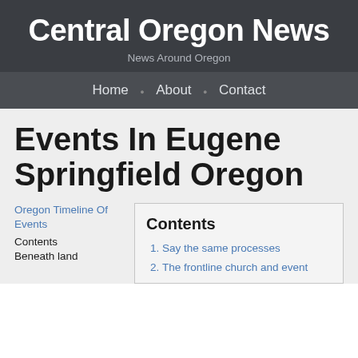Central Oregon News
News Around Oregon
Home · About · Contact
Events In Eugene Springfield Oregon
Oregon Timeline Of Events
Contents
Beneath land
Contents
Say the same processes
The frontline church and event